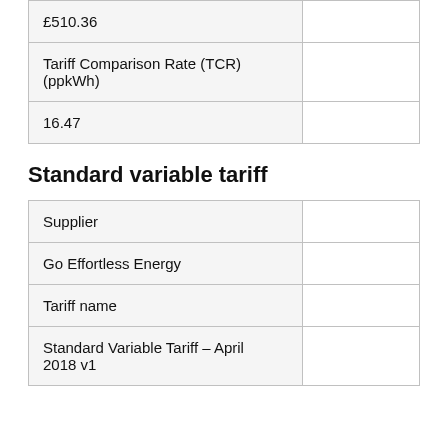| £510.36 |  |
| Tariff Comparison Rate (TCR) (ppkWh) |  |
| 16.47 |  |
Standard variable tariff
| Supplier |  |
| Go Effortless Energy |  |
| Tariff name |  |
| Standard Variable Tariff – April 2018 v1 |  |